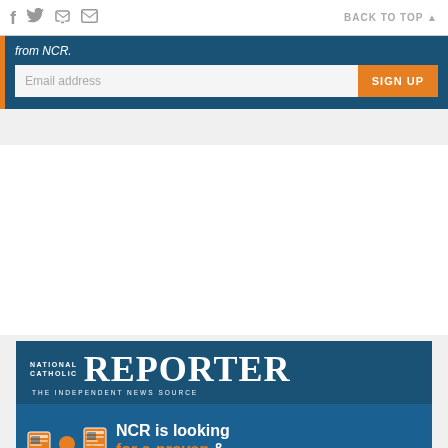f  [twitter]  [print]  [mail]    BACK TO TOP ▲
from NCR.
Email address   SIGN UP
[Figure (infographic): National Catholic Reporter logo bar with NATIONAL CATHOLIC REPORTER THE INDEPENDENT NEWS SOURCE in white text on dark blue background]
[Figure (infographic): NCR is looking for a proven & inspirational leader - hiring advertisement with orange illustrated figure holding newspapers on dark blue background]